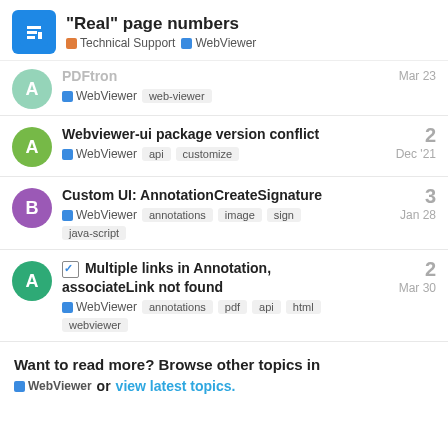"Real" page numbers — Technical Support | WebViewer
PDFTron WebViewer — web-viewer — Mar 23
Webviewer-ui package version conflict
WebViewer — api — customize — Dec '21 — 2 replies
Custom UI: AnnotationCreateSignature
WebViewer — annotations — image — sign — java-script — Jan 28 — 3 replies
✓ Multiple links in Annotation, associateLink not found
WebViewer — annotations — pdf — api — html — webviewer — Mar 30 — 2 replies
Want to read more? Browse other topics in WebViewer or view latest topics.